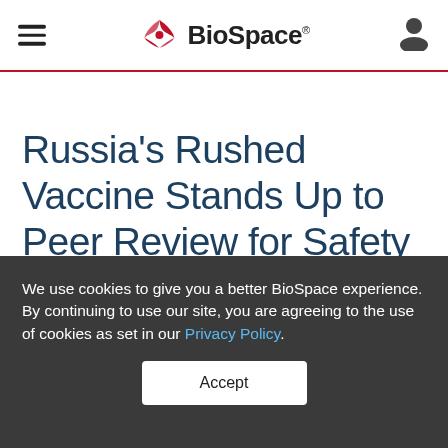BioSpace
Russia's Rushed Vaccine Stands Up to Peer Review for Safety and Efficacy
We use cookies to give you a better BioSpace experience. By continuing to use our site, you are agreeing to the use of cookies as set in our Privacy Policy.